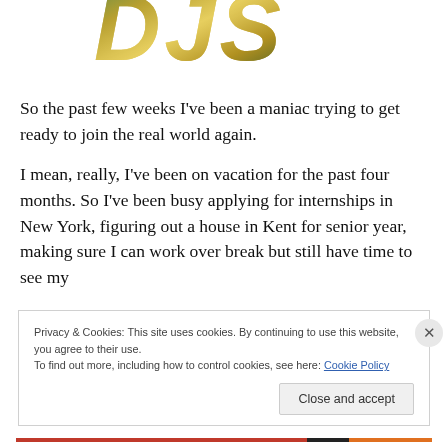[Figure (logo): Partial blog/site logo text showing stylized letters in gold/green gradient, cropped at top]
So the past few weeks I've been a maniac trying to get ready to join the real world again.
I mean, really, I've been on vacation for the past four months. So I've been busy applying for internships in New York, figuring out a house in Kent for senior year, making sure I can work over break but still have time to see my
Privacy & Cookies: This site uses cookies. By continuing to use this website, you agree to their use.
To find out more, including how to control cookies, see here: Cookie Policy
Close and accept